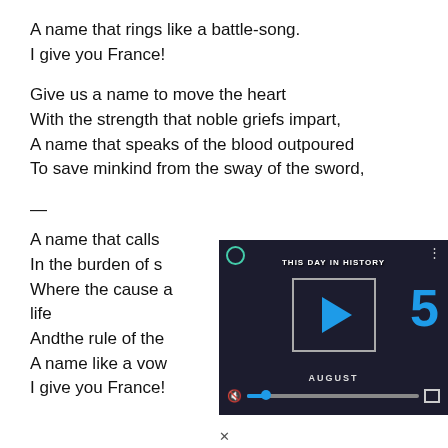A name that rings like a battle-song.
I give you France!

Give us a name to move the heart
With the strength that noble griefs impart,
A name that speaks of the blood outpoured
To save minkind from the sway of the sword,
—
A name that calls
In the burden of s
Where the cause a
life
Andthe rule of the
A name like a vow
I give you France!
[Figure (screenshot): A video player overlay showing 'THIS DAY IN HISTORY' with a play button, the number 5, 'AUGUST' label, a progress bar with a blue dot, mute icon, and fullscreen icon. Background shows people in dark tones.]